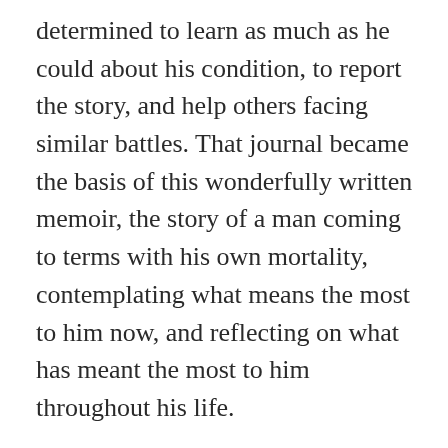determined to learn as much as he could about his condition, to report the story, and help others facing similar battles. That journal became the basis of this wonderfully written memoir, the story of a man coming to terms with his own mortality, contemplating what means the most to him now, and reflecting on what has meant the most to him throughout his life.
Brokaw also pauses to look back on some of the important moments in his career: memories of Nelson Mandela, the Dalai Lama, the fall of the Berlin Wall, the morning of